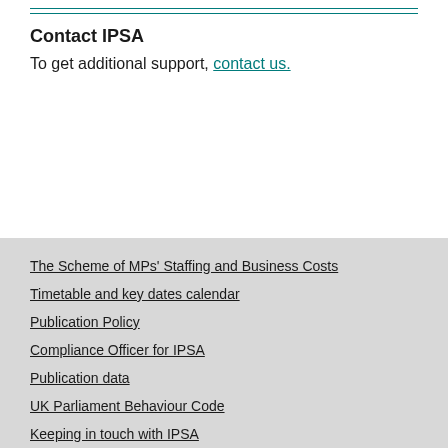Contact IPSA
To get additional support, contact us.
The Scheme of MPs' Staffing and Business Costs
Timetable and key dates calendar
Publication Policy
Compliance Officer for IPSA
Publication data
UK Parliament Behaviour Code
Keeping in touch with IPSA